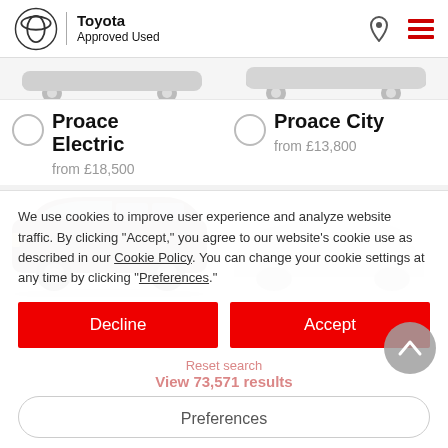Toyota Approved Used
Proace Electric
from £18,500
Proace City
from £13,800
[Figure (photo): Brown Toyota Proace van side profile]
[Figure (illustration): Grey silhouette of a car]
Proace Verso
Other Models
We use cookies to improve user experience and analyze website traffic. By clicking "Accept," you agree to our website's cookie use as described in our Cookie Policy. You can change your cookie settings at any time by clicking "Preferences."
Decline
Accept
Reset search
View 73,571 results
Preferences